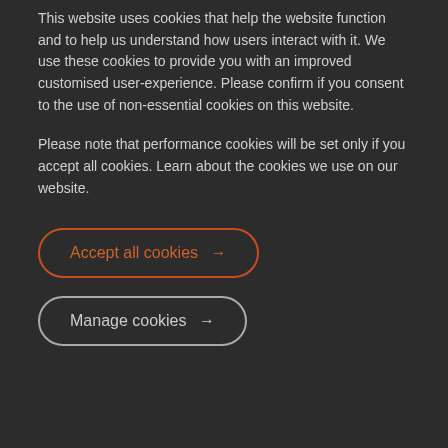This website uses cookies that help the website function and to help us understand how users interact with it. We use these cookies to provide you with an improved customised user-experience. Please confirm if you consent to the use of non-essential cookies on this website.
Please note that performance cookies will be set only if you accept all cookies. Learn about the cookies we use on our website.
Accept all cookies →
Manage cookies →